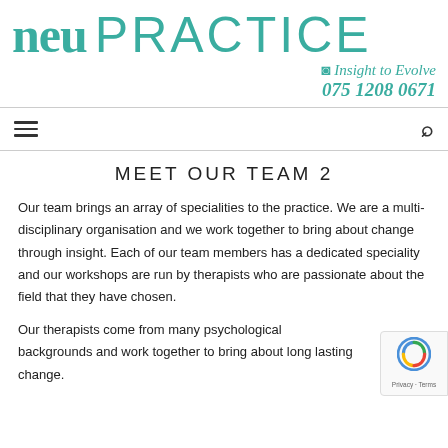[Figure (logo): neu PRACTICE logo with teal/green color, spiral symbol, tagline 'Insight to Evolve' and phone number '075 1208 0671']
MEET OUR TEAM 2
Our team brings an array of specialities to the practice. We are a multi-disciplinary organisation and we work together to bring about change through insight. Each of our team members has a dedicated speciality and our workshops are run by therapists who are passionate about the field that they have chosen.
Our therapists come from many psychological backgrounds and work together to bring about long lasting change.